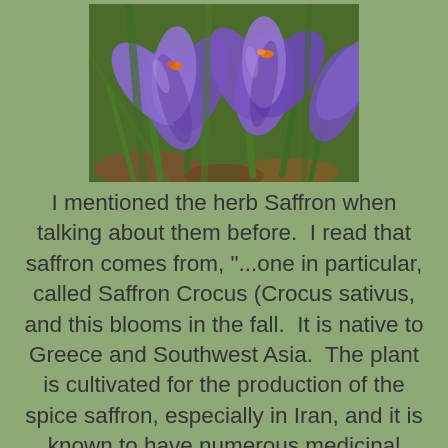[Figure (photo): Close-up photograph of purple Saffron Crocus flowers (Crocus sativus) with green stems, showing orange-red stamens, photographed outdoors with brown leaves in background]
I mentioned the herb Saffron when talking about them before.  I read that saffron comes from, "...one in particular, called Saffron Crocus (Crocus sativus, and this blooms in the fall.  It is native to Greece and Southwest Asia.  The plant is cultivated for the production of the spice saffron, especially in Iran, and it is known to have numerous medicinal properties.  Also a famous medicinal herb with a long history of effective use...